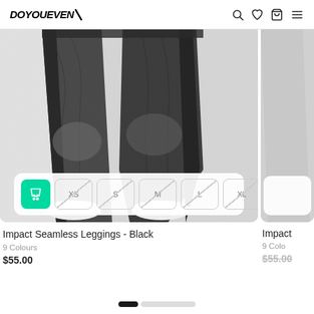DOYOUEVEN/ (with search, wishlist, bag, menu icons)
[Figure (photo): Close-up photo of person wearing dark charcoal/black seamless leggings with white sneakers against a light grey background, showing legs from knee down. Size selector overlay at bottom with cart icon (green), XS, S, M, L, XL buttons (crossed out, unavailable).]
Impact Seamless Leggings - Black
9 Colours
$55.00
[Figure (photo): Partial view of a second product card on the right edge, showing similar leggings product image partially cropped.]
Impact
9 Colo
$55.00 (strikethrough)